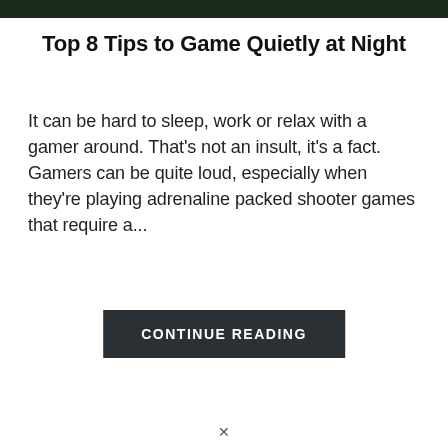[Figure (photo): Dark banner image at the top of the page, appears to show a gaming scene in dark tones]
Top 8 Tips to Game Quietly at Night
It can be hard to sleep, work or relax with a gamer around. That's not an insult, it's a fact. Gamers can be quite loud, especially when they're playing adrenaline packed shooter games that require a...
CONTINUE READING